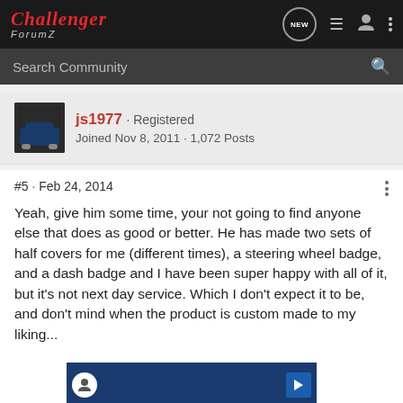Challenger ForumZ — navigation bar with NEW, list, user, and menu icons
Search Community
js1977 · Registered
Joined Nov 8, 2011 · 1,072 Posts
#5 · Feb 24, 2014
Yeah, give him some time, your not going to find anyone else that does as good or better. He has made two sets of half covers for me (different times), a steering wheel badge, and a dash badge and I have been super happy with all of it, but it's not next day service. Which I don't expect it to be, and don't mind when the product is custom made to my liking...
Hey! Tha